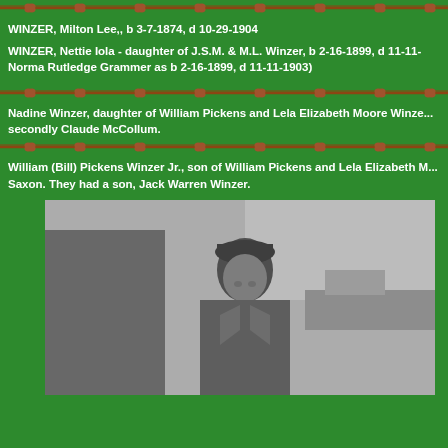[Figure (illustration): Barbed wire decorative divider at top of page]
WINZER, Milton Lee,, b 3-7-1874, d 10-29-1904
WINZER, Nettie Iola - daughter of J.S.M. & M.L. Winzer, b 2-16-1899, d 11-11-... Norma Rutledge Grammer as b 2-16-1899, d 11-11-1903)
[Figure (illustration): Barbed wire decorative divider]
Nadine Winzer, daughter of William Pickens and Lela Elizabeth Moore Winze... secondly Claude McCollum.
[Figure (illustration): Barbed wire decorative divider]
William (Bill) Pickens Winzer Jr., son of William Pickens and Lela Elizabeth M... Saxon. They had a son, Jack Warren Winzer.
[Figure (photo): Black and white photograph of a young man in military uniform, smiling, standing outdoors]